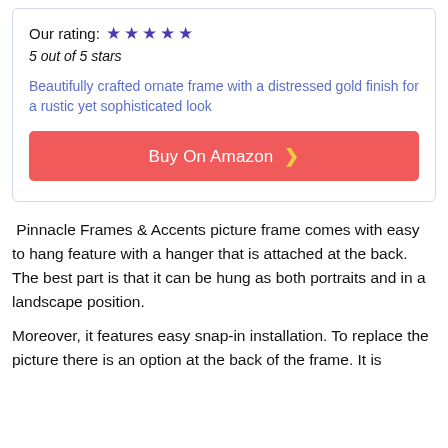Our rating: ★★★★★
5 out of 5 stars
Beautifully crafted ornate frame with a distressed gold finish for a rustic yet sophisticated look
Buy On Amazon ›
Pinnacle Frames & Accents picture frame comes with easy to hang feature with a hanger that is attached at the back. The best part is that it can be hung as both portraits and in a landscape position.
Moreover, it features easy snap-in installation. To replace the picture there is an option at the back of the frame. It is